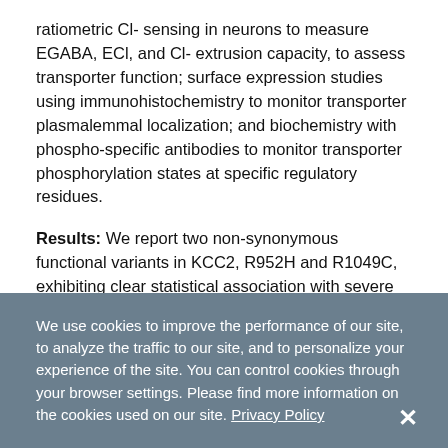ratiometric Cl- sensing in neurons to measure EGABA, ECl, and Cl- extrusion capacity, to assess transporter function; surface expression studies using immunohistochemistry to monitor transporter plasmalemmal localization; and biochemistry with phospho-specific antibodies to monitor transporter phosphorylation states at specific regulatory residues.
Results: We report two non-synonymous functional variants in KCC2, R952H and R1049C, exhibiting clear statistical association with severe idiopathic generalized epilepsy (IGE) in a large French-Canadian patient cohort. These variants reside in evolutionarily conserved residues
We use cookies to improve the performance of our site, to analyze the traffic to our site, and to personalize your experience of the site. You can control cookies through your browser settings. Please find more information on the cookies used on our site. Privacy Policy